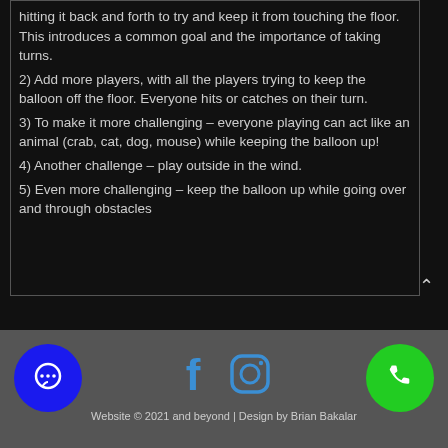hitting it back and forth to try and keep it from touching the floor. This introduces a common goal and the importance of taking turns.
2) Add more players, with all the players trying to keep the balloon off the floor. Everyone hits or catches on their turn.
3) To make it more challenging – everyone playing can act like an animal (crab, cat, dog, mouse) while keeping the balloon up!
4) Another challenge – play outside in the wind.
5) Even more challenging – keep the balloon up while going over and through obstacles
Website © 2021 and beyond | Design by Brian Bakalar